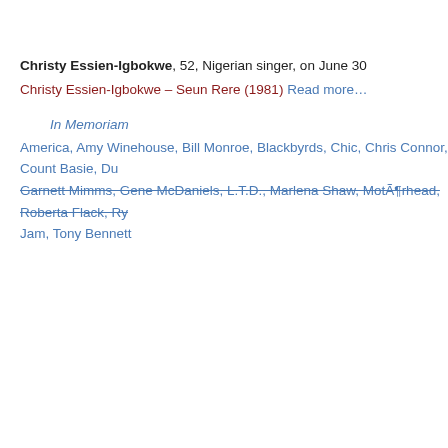Christy Essien-Igbokwe, 52, Nigerian singer, on June 30
Christy Essien-Igbokwe – Seun Rere (1981) Read more…
In Memoriam
America, Amy Winehouse, Bill Monroe, Blackbyrds, Chic, Chris Connor, Count Basie, Du… Garnett Mimms, Gene McDaniels, L.T.D., Marlena Shaw, Motörhead, Roberta Flack, Ry… Jam, Tony Bennett